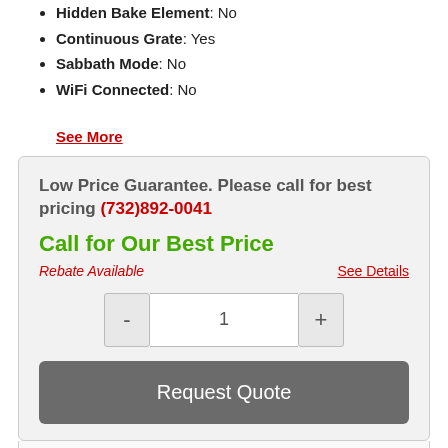Hidden Bake Element: No
Continuous Grate: Yes
Sabbath Mode: No
WiFi Connected: No
See More
Low Price Guarantee. Please call for best pricing (732)892-0041
Call for Our Best Price
Rebate Available
See Details
1
Request Quote
Share This Item